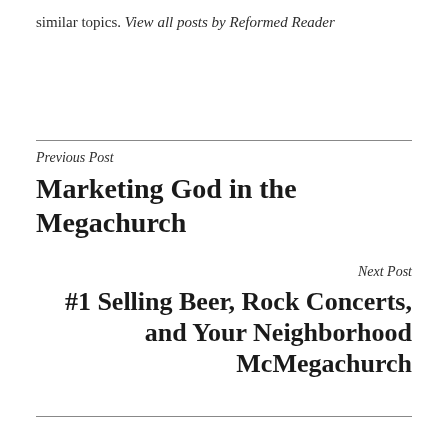similar topics. View all posts by Reformed Reader
Previous Post
Marketing God in the Megachurch
Next Post
#1 Selling Beer, Rock Concerts, and Your Neighborhood McMegachurch